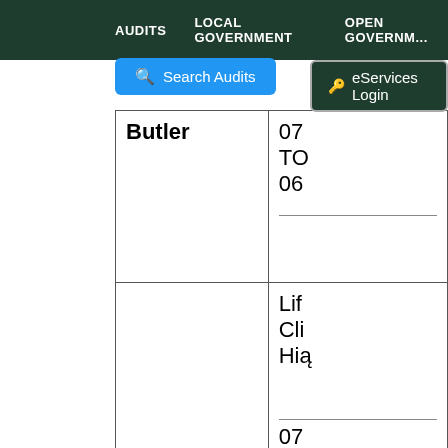AUDITS  LOCAL GOVERNMENT  OPEN GOVERNMENT
[Figure (screenshot): Search Audits blue button with magnifying glass icon]
[Figure (screenshot): eServices Login button with key icon]
| County | Details |
| --- | --- |
| Butler | 07
TO
06
(divider line) |
|  | Lif
Cli
Hig
(divider line) |
| Clark | 07
TO
06 |